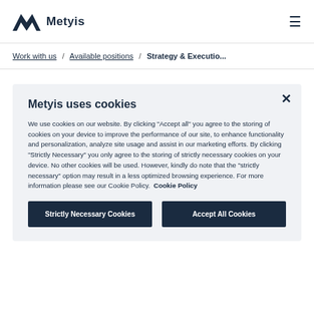Metyis
Work with us / Available positions / Strategy & Executio...
Metyis uses cookies
We use cookies on our website. By clicking "Accept all" you agree to the storing of cookies on your device to improve the performance of our site, to enhance functionality and personalization, analyze site usage and assist in our marketing efforts. By clicking "Strictly Necessary" you only agree to the storing of strictly necessary cookies on your device. No other cookies will be used. However, kindly do note that the "strictly necessary" option may result in a less optimized browsing experience. For more information please see our Cookie Policy. Cookie Policy
Strictly Necessary Cookies
Accept All Cookies